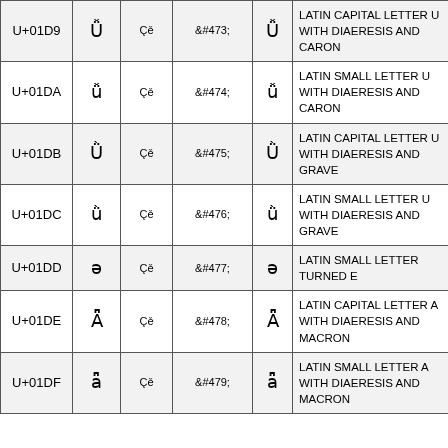| Code | Char | Bytes | HTML Entity | Char | Description |
| --- | --- | --- | --- | --- | --- |
| U+01D9 | Ǚ | Çě | &#473; | Ǚ | LATIN CAPITAL LETTER U WITH DIAERESIS AND CARON |
| U+01DA | ǚ | Çě | &#474; | ǚ | LATIN SMALL LETTER U WITH DIAERESIS AND CARON |
| U+01DB | Ǜ | Çě | &#475; | Ǜ | LATIN CAPITAL LETTER U WITH DIAERESIS AND GRAVE |
| U+01DC | ǜ | Çě | &#476; | ǜ | LATIN SMALL LETTER U WITH DIAERESIS AND GRAVE |
| U+01DD | ə | Çě | &#477; | ə | LATIN SMALL LETTER TURNED E |
| U+01DE | Ǟ | Çě | &#478; | Ǟ | LATIN CAPITAL LETTER A WITH DIAERESIS AND MACRON |
| U+01DF | ǟ | Çě | &#479; | ǟ | LATIN SMALL LETTER A WITH DIAERESIS AND MACRON |